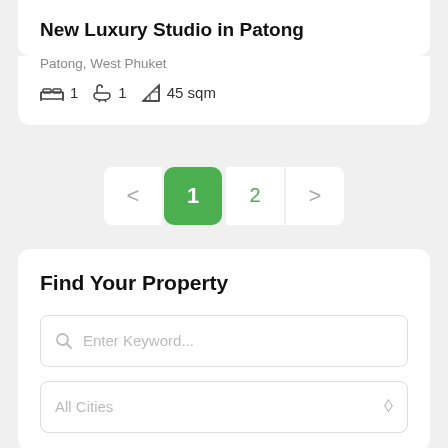New Luxury Studio in Patong
Patong, West Phuket
1  1  45 sqm
< 1 2 >
Find Your Property
Enter Keyword...
All Cities